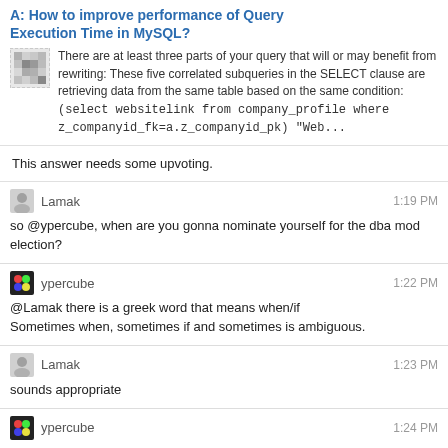A: How to improve performance of Query Execution Time in MySQL?
There are at least three parts of your query that will or may benefit from rewriting: These five correlated subqueries in the SELECT clause are retrieving data from the same table based on the same condition: (select websitelink from company_profile where z_companyid_fk=a.z_companyid_pk) "Web...
This answer needs some upvoting.
Lamak  1:19 PM
so @ypercube, when are you gonna nominate yourself for the dba mod election?
ypercube  1:22 PM
@Lamak there is a greek word that means when/if
Sometimes when, sometimes if and sometimes is ambiguous.
Lamak  1:23 PM
sounds appropriate
ypercube  1:24 PM
oh, we have 2 candidates already.
Lamak  1:24 PM
yup
IMHO, good candidates
;-)